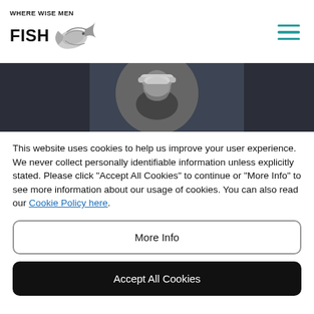WHERE WISE MEN FISH
[Figure (photo): Black and white photo of a man wearing a cap, shown in a circular crop, against a dark gray banner background]
This website uses cookies to help us improve your user experience. We never collect personally identifiable information unless explicitly stated. Please click "Accept All Cookies" to continue or "More Info" to see more information about our usage of cookies. You can also read our Cookie Policy here.
More Info
Accept All Cookies